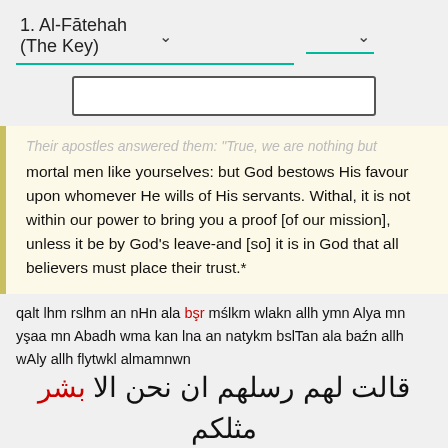1. Al-Fātehah (The Key)
Their apostles answered them: "True, we are nothing but mortal men like yourselves: but God bestows His favour upon whomever He wills of His servants. Withal, it is not within our power to bring you a proof [of our mission], unless it be by God's leave-and [so] it is in God that all believers must place their trust.*
qalt lhm rslhm an nHn ala bşr mślkm wlakn allh ymn Alya mn yşaa mn Abadh wma kan lna an natykm bslTan ala baźn allh wAly allh flytwkl almamnwn
قالت لهم رسلهم ان نحن الا بشر مثلكم ولاكن الله يمن علنا من يشاء من عباده وما كان لنا ان نأتيكم بسلطان الا باذن الله